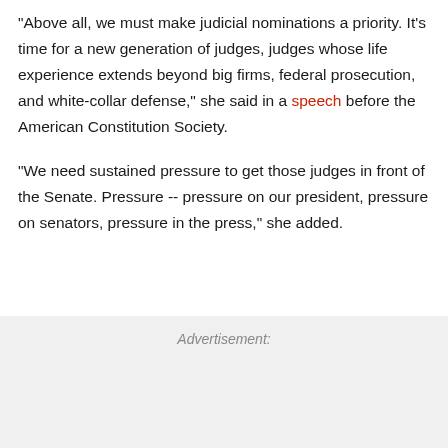"Above all, we must make judicial nominations a priority. It's time for a new generation of judges, judges whose life experience extends beyond big firms, federal prosecution, and white-collar defense," she said in a speech before the American Constitution Society.
"We need sustained pressure to get those judges in front of the Senate. Pressure -- pressure on our president, pressure on senators, pressure in the press," she added.
Advertisement: